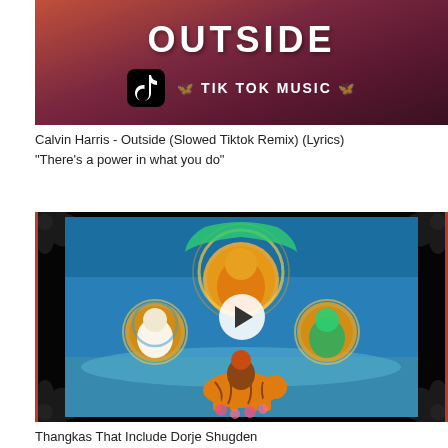[Figure (screenshot): TikTok music thumbnail for Calvin Harris Outside remix showing word OUTSIDE in large white letters on a dark reddish-purple cloudy sky background, with TikTok logo and butterfly decorations around 'TIK TOK MUSIC' text]
Calvin Harris - Outside (Slowed Tiktok Remix) (Lyrics) "There's a power in what you do"
[Figure (screenshot): Thumbnail of a Thangka painting showing Buddhist deities including a central Buddha figure, White Tara on the left, Green Tara on the right, and Dorje Shugden riding a tiger at the bottom, with a play button overlay in the center]
Thangkas That Include Dorje Shugden